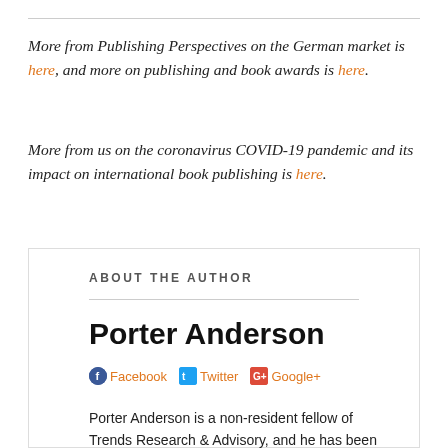More from Publishing Perspectives on the German market is here, and more on publishing and book awards is here.
More from us on the coronavirus COVID-19 pandemic and its impact on international book publishing is here.
ABOUT THE AUTHOR
Porter Anderson
Facebook Twitter Google+
Porter Anderson is a non-resident fellow of Trends Research & Advisory, and he has been named International Trade Press Journalist of the Year in